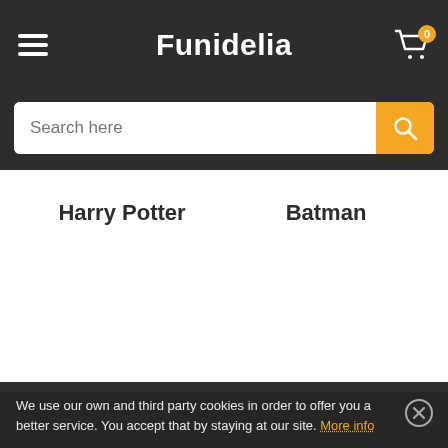Funidelia
Search here
Harry Potter
Batman
20s, Flapper & Burlesque ... Cartoons
We use our own and third party cookies in order to offer you a better service. You accept that by staying at our site. More info